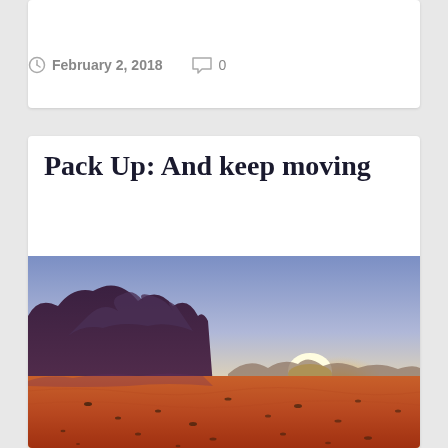February 2, 2018   0
Pack Up: And keep moving
[Figure (photo): Desert landscape at sunset with red sand dunes in foreground, rocky mountains/cliffs on the left, bright yellow-orange sun setting behind distant mountains on the right, under a blue-purple sky.]